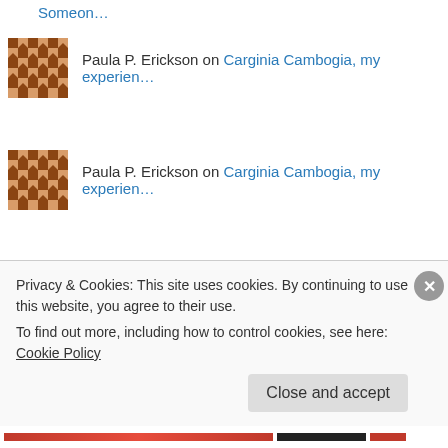Someon…
Paula P. Erickson on Carginia Cambogia, my experien…
Paula P. Erickson on Carginia Cambogia, my experien…
halipawz on Mounted Archery – What A…
Archives
May 2021
Privacy & Cookies: This site uses cookies. By continuing to use this website, you agree to their use. To find out more, including how to control cookies, see here: Cookie Policy
Close and accept